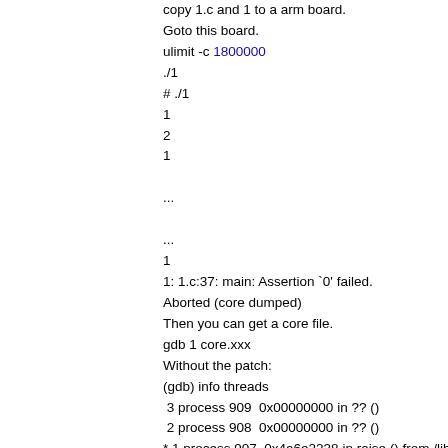copy 1.c and 1 to a arm board.
Goto this board.
ulimit -c 1800000
./1
# ./1
1
2
1

...

...
1
1: 1.c:37: main: Assertion `0' failed.
Aborted (core dumped)
Then you can get a core file.
gdb 1 core.xxx
Without the patch:
(gdb) info threads
 3 process 909  0x00000000 in ?? ()
 2 process 908  0x00000000 in ?? ()
* 1 process 907  0x4a6e2238 in raise () from /lib/li
You can found that the pc of 909 and 908 is 0x000
With the patch:
(gdb) info threads
 3 process 885  0x4a749974 in nanosleep () from
 2 process 884  0x4a749974 in nanosleep () from
* 1 process 883  0x4a6e2238 in raise () from /lib/li
The pc of 885 and 884 is right.
Signed-off-by: Hui Zhu
<teawater@gmail.com>
Cc: Amerigo Wang